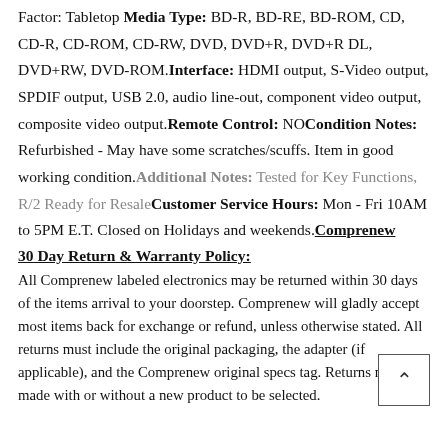Factor: Tabletop Media Type: BD-R, BD-RE, BD-ROM, CD, CD-R, CD-ROM, CD-RW, DVD, DVD+R, DVD+R DL, DVD+RW, DVD-ROM.Interface: HDMI output, S-Video output, SPDIF output, USB 2.0, audio line-out, component video output, composite video output.Remote Control: NOCondition Notes: Refurbished - May have some scratches/scuffs. Item in good working condition.Additional Notes: Tested for Key Functions, R/2 Ready for ResaleCustomer Service Hours: Mon - Fri 10AM to 5PM E.T. Closed on Holidays and weekends.Comprenew 30 Day Return & Warranty Policy:
All Comprenew labeled electronics may be returned within 30 days of the items arrival to your doorstep. Comprenew will gladly accept most items back for exchange or refund, unless otherwise stated. All returns must include the original packaging, the adapter (if applicable), and the Comprenew original specs tag. Returns may be made with or without a new product to be selected.